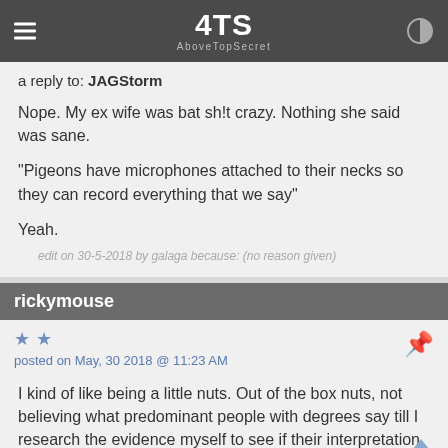ATS AboveTopSecret
a reply to: JAGStorm
Nope. My ex wife was bat sh!t crazy. Nothing she said was sane.
"Pigeons have microphones attached to their necks so they can record everything that we say"
Yeah.
edit on 30-5-2018 by galaga because: (no reason given)
rickymouse
posted on May, 30 2018 @ 11:23 AM
I kind of like being a little nuts. Out of the box nuts, not believing what predominant people with degrees say till I research the evidence myself to see if their interpretation they are using is correct. I think that qualifies as Skitzo.